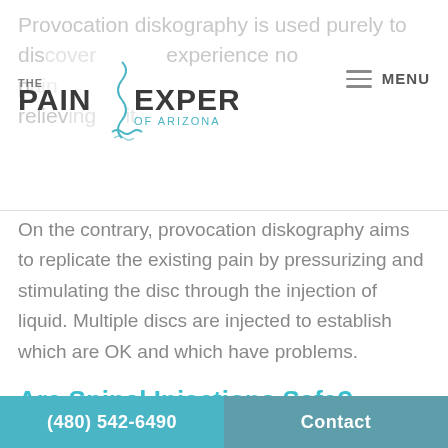The Pain Experts of Arizona — MENU
On the contrary, provocation diskography aims to replicate the existing pain by pressurizing and stimulating the disc through the injection of liquid. Multiple discs are injected to establish which are OK and which have problems.
Are Spinal Injections Safe?
Spinal injection procedures are typically safe
(480) 542-6490    Contact